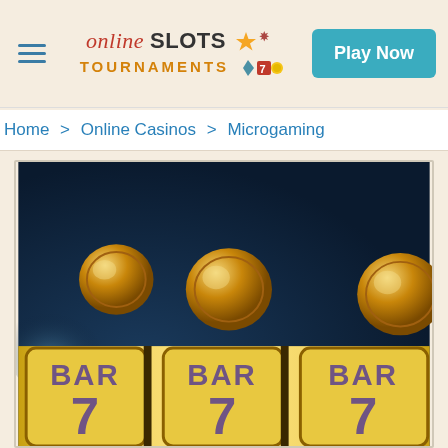online SLOTS TOURNAMENTS [icons] | Play Now
Home > Online Casinos > Microgaming
[Figure (illustration): Slot machine illustration showing three reels with golden coins falling from above against a dark blue background. Each reel shows 'BAR' at the top and '7' at the bottom, rendered in golden metallic style.]